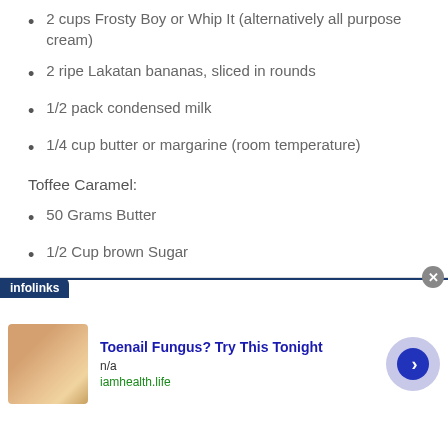2 cups Frosty Boy or Whip It (alternatively all purpose cream)
2 ripe Lakatan bananas, sliced in rounds
1/2 pack condensed milk
1/4 cup butter or margarine (room temperature)
Toffee Caramel:
50 Grams Butter
1/2 Cup brown Sugar
1/2 can condense milk
Toppings:
[Figure (other): Infolinks advertisement banner: Toenail Fungus? Try This Tonight, n/a, iamhealth.life with a photo of a foot and a navigation arrow button]